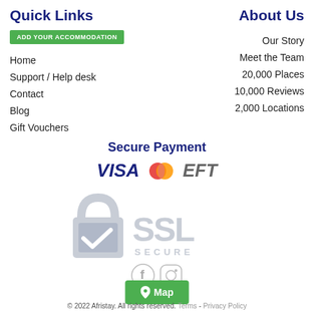Quick Links
ADD YOUR ACCOMMODATION
Home
Support / Help desk
Contact
Blog
Gift Vouchers
About Us
Our Story
Meet the Team
20,000 Places
10,000 Reviews
2,000 Locations
Secure Payment
[Figure (logo): Payment logos: VISA, Mastercard (red/orange circle), EFT]
[Figure (logo): SSL Secure badge with padlock icon]
[Figure (logo): Facebook and Instagram social icons]
[Figure (other): Green Map button with map pin icon]
© 2022 Afristay. All rights reserved. Terms - Privacy Policy